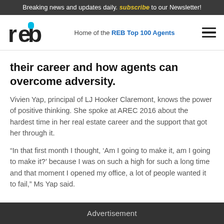Breaking news and updates daily. subscribe to our Newsletter!
reb — Home of the REB Top 100 Agents
their career and how agents can overcome adversity.
Vivien Yap, principal of LJ Hooker Claremont, knows the power of positive thinking. She spoke at AREC 2016 about the hardest time in her real estate career and the support that got her through it.
“In that first month I thought, ‘Am I going to make it, am I going to make it?’ because I was on such a high for such a long time and that moment I opened my office, a lot of people wanted it to fail,” Ms Yap said.
Advertisement